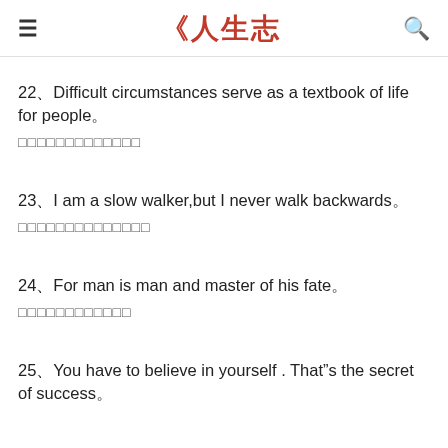≡ 《人生志 Q
22、Difficult circumstances serve as a textbook of life for people。
□□□□□□□□□□□□□
23、I am a slow walker,but I never walk backwards。
□□□□□□□□□□□□□□
24、For man is man and master of his fate。
□□□□□□□□□□□□
25、You have to believe in yourself . That"s the secret of success。